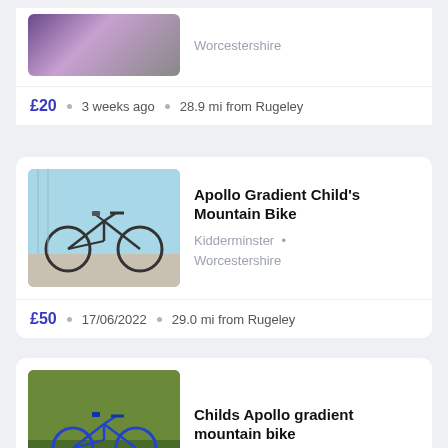Worcestershire
£20  •  3 weeks ago  •  28.9 mi from Rugeley
Apollo Gradient Child's Mountain Bike
Kidderminster  •  Worcestershire
£50  •  17/06/2022  •  29.0 mi from Rugeley
Childs Apollo gradient mountain bike